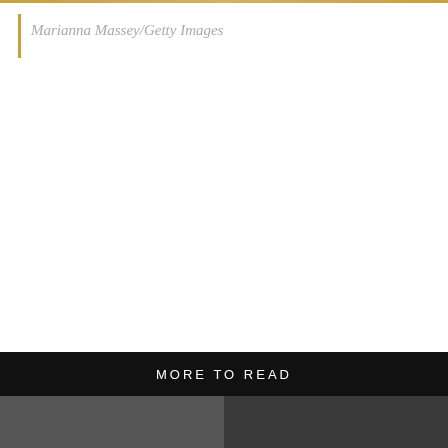Marianna Massey/Getty Images
MORE TO READ